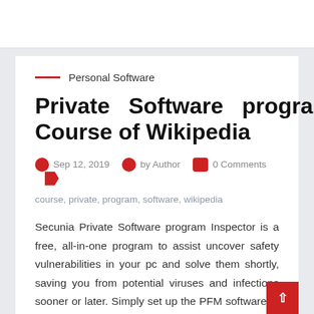Personal Software
Private Software program Course of Wikipedia
Sep 12, 2019   by Author   0 Comments
course, private, program, software, wikipedia
Secunia Private Software program Inspector is a free, all-in-one program to assist uncover safety vulnerabilities in your pc and solve them shortly, saving you from potential viruses and infections sooner or later. Simply set up the PFM software to routinely download transactions and balances for